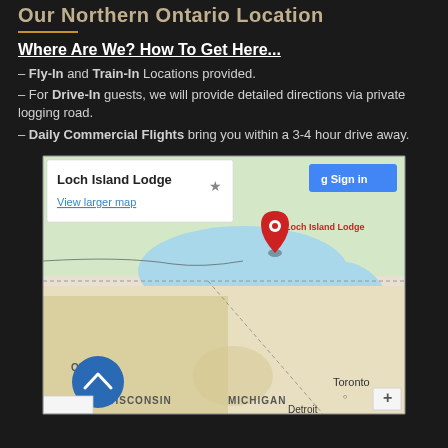Our Northern Ontario Location
Where Are We? How To Get Here...
– Fly-In and Train-In Locations provided.
– For Drive-In guests, we will provide detailed directions via private logging road.
– Daily Commercial Flights bring you within a 3-4 hour drive away.
[Figure (map): Google Maps screenshot showing Loch Island Lodge location in Northern Ontario, with Great Lakes visible including Lake Superior, Lake Michigan, Lake Huron. Map shows Wisconsin, Michigan, Toronto, Detroit labels. A red pin marker labeled Loch Island Lodge is shown in Northern Ontario. A white info box shows 'Loch Island Lodge / View larger map'. Blue circle scroll-to-top button visible bottom left.]